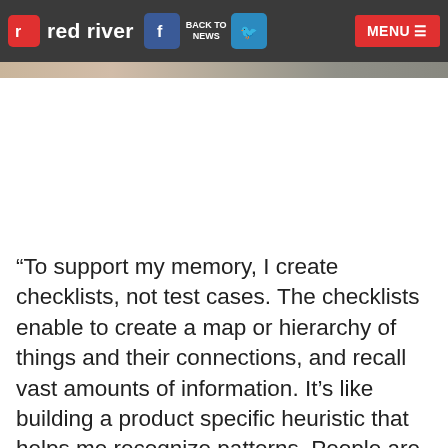red river | BACK TO NEWS | MENU
[Figure (photo): Partial banner/header image strip at top of article page]
“To support my memory, I create checklists, not test cases. The checklists enable to create a map or hierarchy of things and their connections, and recall vast amounts of information. It’s like building a product specific heuristic that helps me recognize patterns. People are pattern recognition machines